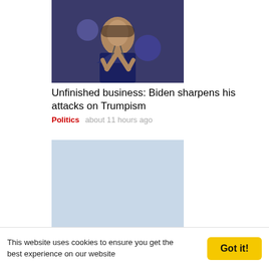[Figure (photo): Man in suit speaking at event, gesturing with hands, stage lighting in background]
Unfinished business: Biden sharpens his attacks on Trumpism
Politics   about 11 hours ago
[Figure (photo): Rows of small medical vials/vaccine bottles arranged in a grid pattern]
FDA authorizes Moderna, Pfizer-BioNTech Omicron booster shots
Politics   about 18 hours ago
[Figure (photo): Close-up of small medical vials/bottles arranged in rows]
This website uses cookies to ensure you get the best experience on our website